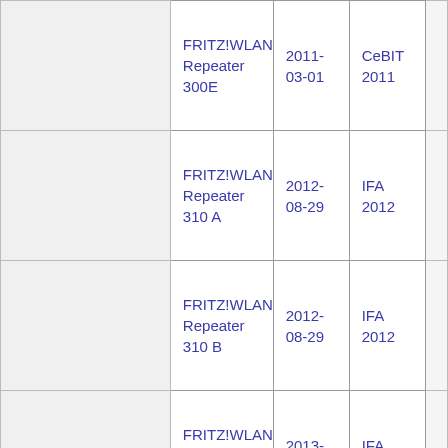| (empty) | Product | Date | Event | (extra) |
| --- | --- | --- | --- | --- |
|  | FRITZ!WLAN Repeater 300E | 2011-03-01 | CeBIT 2011 |  |
|  | FRITZ!WLAN Repeater 310 A | 2012-08-29 | IFA 2012 |  |
|  | FRITZ!WLAN Repeater 310 B | 2012-08-29 | IFA 2012 |  |
|  | FRITZ!WLAN Repeater 450E | 2013-08-15 | IFA 2013 |  |
|  |  |  | MWC 2013(?) |  |